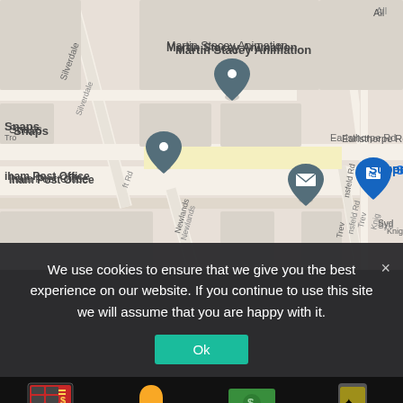[Figure (map): Google Maps screenshot showing Sydenham area with markers for Martin Stacey Animation, Mayow Veterinary Surgery, Snaps, Superdrug, iham Post Office, and The Gym Group London Sydenham. Streets include Silverdale, Earlsthorpe Rd, Newlands, nsfeld Rd. Red marker at Superdrug location.]
We use cookies to ensure that we give you the best experience on our website. If you continue to use this site we will assume that you are happy with it.
Ok
[Figure (infographic): Four betting site category icons at bottom: Best Betting Sites (monitor with betting odds icon), New Betting Sites (bell icon), Free Betting Sites (money with minus icon), Mobile Betting Sites (phone with spade icon)]